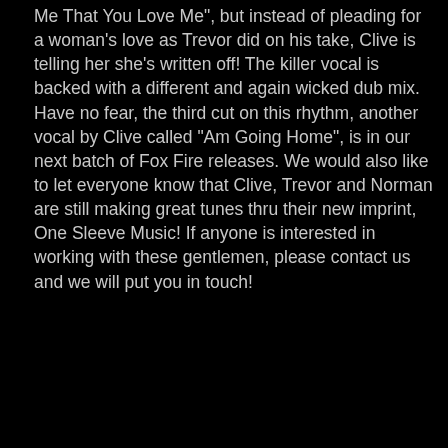Me That You Love Me", but instead of pleading for a woman's love as Trevor did on his take, Clive is telling her she's written off! The killer vocal is backed with a different and again wicked dub mix. Have no fear, the third cut on this rhythm, another vocal by Clive called "Am Going Home", is in our next batch of Fox Fire releases. We would also like to let everyone know that Clive, Trevor and Norman are still making great tunes thru their new imprint, One Sleeve Music! If anyone is interested in working with these gentlemen, please contact us and we will put you in touch!